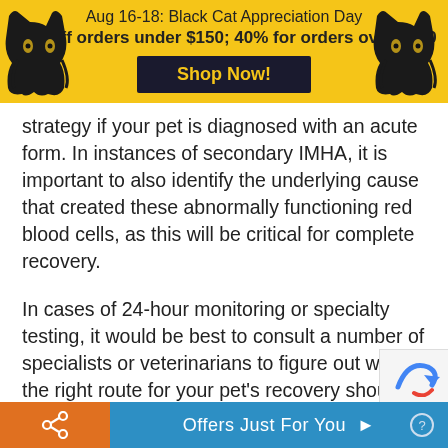[Figure (infographic): Yellow promotional banner for Black Cat Appreciation Day with two black cat silhouettes on either side, text reading 'Aug 16-18: Black Cat Appreciation Day, 30% off orders under $150; 40% for orders over $150', and a dark 'Shop Now!' button in the center]
strategy if your pet is diagnosed with an acute form. In instances of secondary IMHA, it is important to also identify the underlying cause that created these abnormally functioning red blood cells, as this will be critical for complete recovery.
In cases of 24-hour monitoring or specialty testing, it would be best to consult a number of specialists or veterinarians to figure out what the right route for your pet's recovery should be. Some of these expenses can be extremely costly, and that is why you should always know all of your options before selecting a specific path.
Offers Just For You ▶